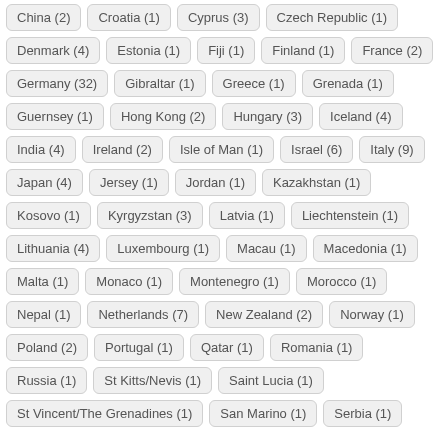China (2)
Croatia (1)
Cyprus (3)
Czech Republic (1)
Denmark (4)
Estonia (1)
Fiji (1)
Finland (1)
France (2)
Germany (32)
Gibraltar (1)
Greece (1)
Grenada (1)
Guernsey (1)
Hong Kong (2)
Hungary (3)
Iceland (4)
India (4)
Ireland (2)
Isle of Man (1)
Israel (6)
Italy (9)
Japan (4)
Jersey (1)
Jordan (1)
Kazakhstan (1)
Kosovo (1)
Kyrgyzstan (3)
Latvia (1)
Liechtenstein (1)
Lithuania (4)
Luxembourg (1)
Macau (1)
Macedonia (1)
Malta (1)
Monaco (1)
Montenegro (1)
Morocco (1)
Nepal (1)
Netherlands (7)
New Zealand (2)
Norway (1)
Poland (2)
Portugal (1)
Qatar (1)
Romania (1)
Russia (1)
St Kitts/Nevis (1)
Saint Lucia (1)
St Vincent/The Grenadines (1)
San Marino (1)
Serbia (1)